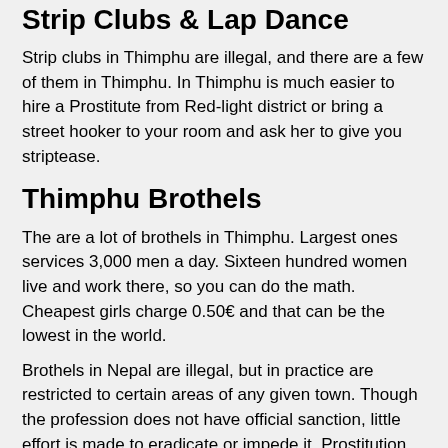Strip Clubs & Lap Dance
Strip clubs in Thimphu are illegal, and there are a few of them in Thimphu. In Thimphu is much easier to hire a Prostitute from Red-light district or bring a street hooker to your room and ask her to give you striptease.
Thimphu Brothels
The are a lot of brothels in Thimphu. Largest ones services 3,000 men a day. Sixteen hundred women live and work there, so you can do the math. Cheapest girls charge 0.50€ and that can be the lowest in the world.
Brothels in Nepal are illegal, but in practice are restricted to certain areas of any given town. Though the profession does not have official sanction, little effort is made to eradicate or impede it. Prostitution exists very wide under specific houses, flats or private places.
Erotic Massage Parlors